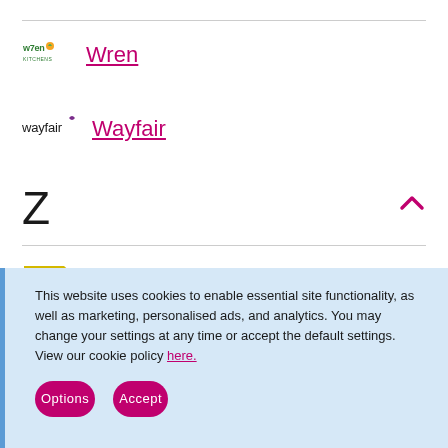[Figure (logo): Wren Kitchens logo with green text and leaf icon]
Wren
[Figure (logo): Wayfair logo with black text and small floral icon]
Wayfair
Z
[Figure (logo): Zuto logo with yellow pentagon shape and white text]
Zuto
This website uses cookies to enable essential site functionality, as well as marketing, personalised ads, and analytics. You may change your settings at any time or accept the default settings. View our cookie policy here.
Options
Accept